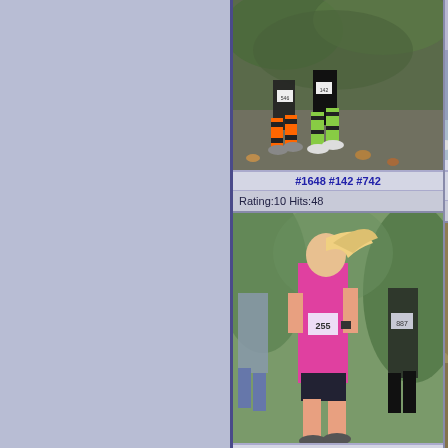[Figure (photo): Two runners in Halloween costumes with striped colorful leggings running on a road with autumn foliage in background. Photo partially cropped on left edge.]
#1648 #142 #742
Rating:10 Hits:48
[Figure (photo): Partial photo of runner(s) cropped on right side of page, top position.]
Rating:
[Figure (photo): Blonde woman in pink shirt and black shorts running in a race, bib number 255, with other runners in background.]
#1255
Rating:9 Hits:27
[Figure (photo): Partial photo cropped on right side of page, bottom position, showing autumn foliage.]
Rating:
[Figure (photo): Partial photo at bottom of page showing autumn trees/foliage, left column.]
[Figure (photo): Partial photo at bottom of page showing autumn scene, right column.]